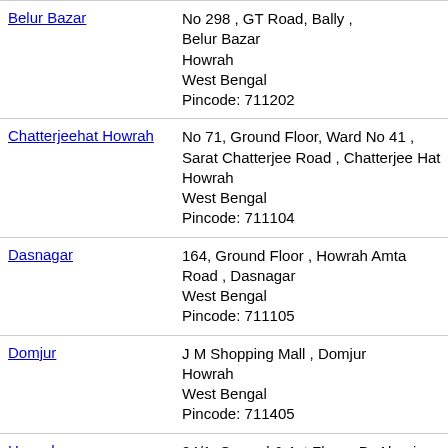| Branch | Address |
| --- | --- |
| Belur Bazar | No 298 , GT Road, Bally , Belur Bazar Howrah West Bengal Pincode: 711202 |
| Chatterjeehat Howrah | No 71, Ground Floor, Ward No 41 , Sarat Chatterjee Road , Chatterjee Hat Howrah West Bengal Pincode: 711104 |
| Dasnagar | 164, Ground Floor , Howrah Amta Road , Dasnagar West Bengal Pincode: 711105 |
| Domjur | J M Shopping Mall , Domjur Howrah West Bengal Pincode: 711405 |
| Howrah | 94/1, Ground & 1st Floor , Dr Abani Dutta Road , Salkia Howrah |